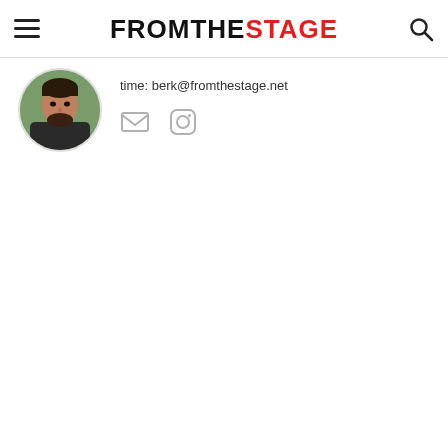FROMTHESTAGE
[Figure (photo): Circular avatar photo of a man with dark hair and beard wearing a dark shirt, with green foliage in the background]
time: berk@fromthestage.net
[Figure (other): Email and Instagram social media icons in gray]